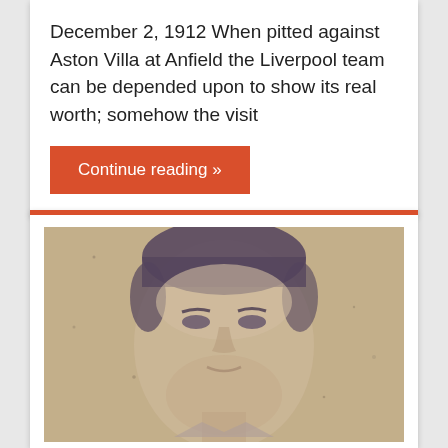December 2, 1912 When pitted against Aston Villa at Anfield the Liverpool team can be depended upon to show its real worth; somehow the visit
Continue reading »
[Figure (photo): Black and white vintage photograph of a young man's face, close-up portrait, slightly blurred/aged quality]